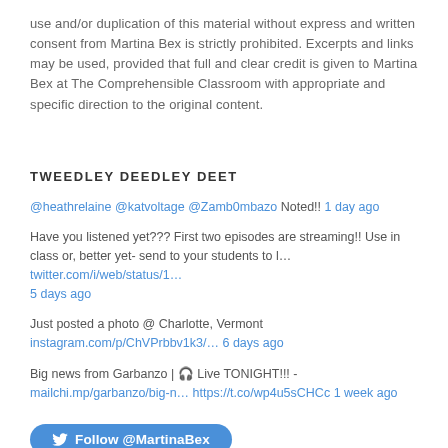use and/or duplication of this material without express and written consent from Martina Bex is strictly prohibited. Excerpts and links may be used, provided that full and clear credit is given to Martina Bex at The Comprehensible Classroom with appropriate and specific direction to the original content.
TWEEDLEY DEEDLEY DEET
@heathrelaine @katvoltage @Zamb0mbazo Noted!! 1 day ago
Have you listened yet??? First two episodes are streaming!! Use in class or, better yet- send to your students to l… twitter.com/i/web/status/1… 5 days ago
Just posted a photo @ Charlotte, Vermont instagram.com/p/ChVPrbbv1k3/… 6 days ago
Big news from Garbanzo | 🎧 Live TONIGHT!!! - mailchi.mp/garbanzo/big-n… https://t.co/wp4u5sCHCc 1 week ago
Follow @MartinaBex